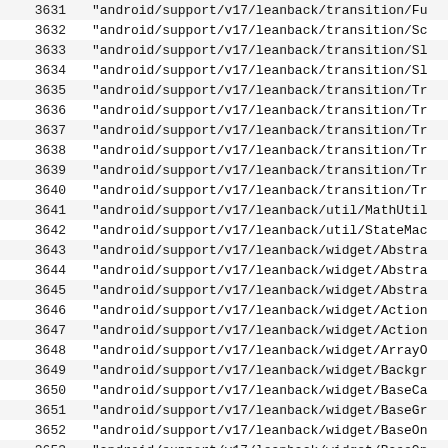| number | path |
| --- | --- |
| 3631 | "android/support/v17/leanback/transition/Fu |
| 3632 | "android/support/v17/leanback/transition/Sc |
| 3633 | "android/support/v17/leanback/transition/Sl |
| 3634 | "android/support/v17/leanback/transition/Sl |
| 3635 | "android/support/v17/leanback/transition/Tr |
| 3636 | "android/support/v17/leanback/transition/Tr |
| 3637 | "android/support/v17/leanback/transition/Tr |
| 3638 | "android/support/v17/leanback/transition/Tr |
| 3639 | "android/support/v17/leanback/transition/Tr |
| 3640 | "android/support/v17/leanback/transition/Tr |
| 3641 | "android/support/v17/leanback/util/MathUtil |
| 3642 | "android/support/v17/leanback/util/StateMac |
| 3643 | "android/support/v17/leanback/widget/Abstra |
| 3644 | "android/support/v17/leanback/widget/Abstra |
| 3645 | "android/support/v17/leanback/widget/Abstra |
| 3646 | "android/support/v17/leanback/widget/Action |
| 3647 | "android/support/v17/leanback/widget/Action |
| 3648 | "android/support/v17/leanback/widget/ArrayO |
| 3649 | "android/support/v17/leanback/widget/Backgr |
| 3650 | "android/support/v17/leanback/widget/BaseCa |
| 3651 | "android/support/v17/leanback/widget/BaseGr |
| 3652 | "android/support/v17/leanback/widget/BaseOn |
| 3653 | "android/support/v17/leanback/widget/BaseOn |